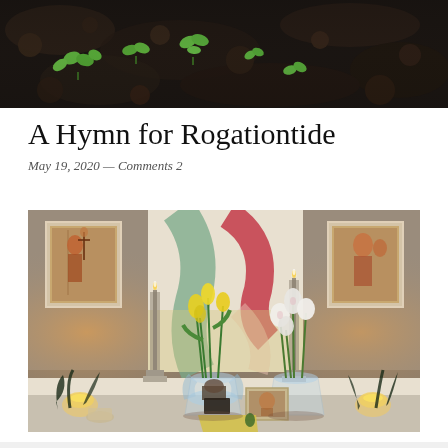[Figure (photo): Close-up photograph of dark soil with small green seedlings sprouting]
A Hymn for Rogationtide
May 19, 2020 — Comments 2
[Figure (photo): Home altar with candles, flower vases with yellow and white tulips, framed religious artwork, and an abstract painting in the background]